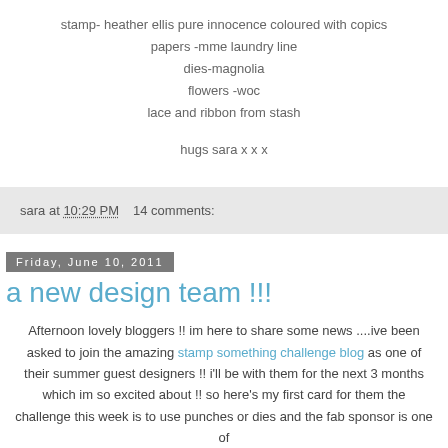stamp- heather ellis pure innocence coloured with copics
papers -mme laundry line
dies-magnolia
flowers -woc
lace and ribbon from stash
hugs sara x x x
sara at 10:29 PM    14 comments:
Friday, June 10, 2011
a new design team !!!
Afternoon lovely bloggers !! im here to share some news ....ive been asked to join the amazing stamp something challenge blog as one of their summer guest designers !! i'll be with them for the next 3 months which im so excited about !! so here's my first card for them the challenge this week is to use punches or dies and the fab sponsor is one of